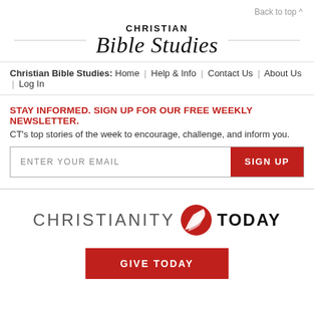Back to top ^
CHRISTIAN Bible Studies
Christian Bible Studies: Home | Help & Info | Contact Us | About Us | Log In
STAY INFORMED. SIGN UP FOR OUR FREE WEEKLY NEWSLETTER. CT's top stories of the week to encourage, challenge, and inform you.
[Figure (infographic): Email signup form with text input 'ENTER YOUR EMAIL' and red 'SIGN UP' button]
[Figure (logo): Christianity Today logo with red swoosh icon between 'CHRISTIANITY' and 'TODAY']
[Figure (other): Red 'GIVE TODAY' button]